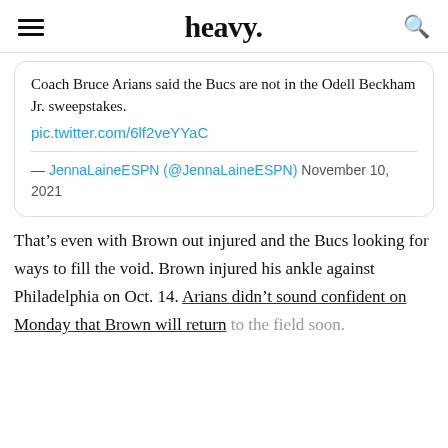heavy.
Coach Bruce Arians said the Bucs are not in the Odell Beckham Jr. sweepstakes.
pic.twitter.com/6lf2veYYaC
— JennaLaineESPN (@JennaLaineESPN) November 10, 2021
That’s even with Brown out injured and the Bucs looking for ways to fill the void. Brown injured his ankle against Philadelphia on Oct. 14. Arians didn’t sound confident on Monday that Brown will return to the field soon.